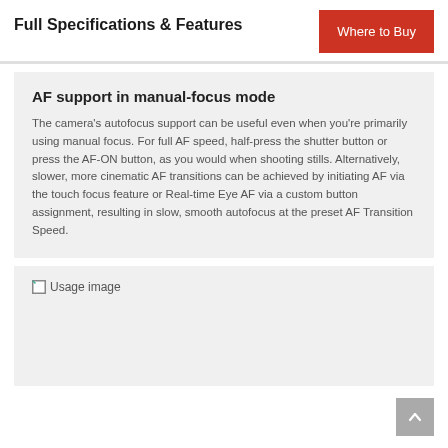Full Specifications & Features
AF support in manual-focus mode
The camera's autofocus support can be useful even when you're primarily using manual focus. For full AF speed, half-press the shutter button or press the AF-ON button, as you would when shooting stills. Alternatively, slower, more cinematic AF transitions can be achieved by initiating AF via the touch focus feature or Real-time Eye AF via a custom button assignment, resulting in slow, smooth autofocus at the preset AF Transition Speed.
[Figure (photo): Usage image placeholder]